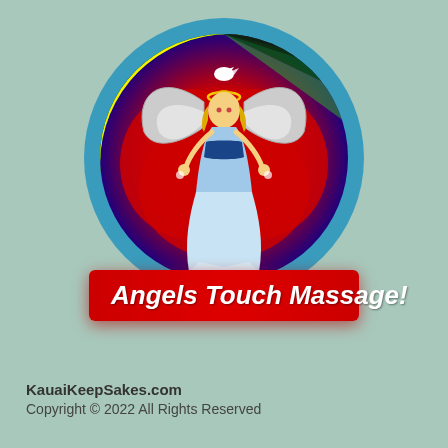[Figure (logo): Angels Touch Massage logo: circular emblem with blue outer ring, dark blue and red heart background with rainbow ring accents, angel figure with blonde hair wings and flowing blue dress in center, red banner below with white italic text 'Angels Touch Massage!']
KauaiKeepSakes.com
Copyright © 2022 All Rights Reserved